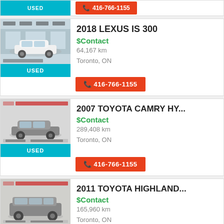[Figure (screenshot): Partial top strip showing USED button and phone number 416-766-1155]
[Figure (photo): 2018 Lexus IS 300 white car at dealership]
2018 LEXUS IS 300
$Contact
64,167 km
Toronto, ON
[Figure (photo): 2007 Toyota Camry Hybrid grey sedan]
2007 TOYOTA CAMRY HY...
$Contact
289,408 km
Toronto, ON
[Figure (photo): 2011 Toyota Highlander grey SUV]
2011 TOYOTA HIGHLAND...
$Contact
165,960 km
Toronto, ON
[Figure (photo): 2019 Lexus RX 350 at dealership (partial)]
2019 LEXUS RX 350
$Contact